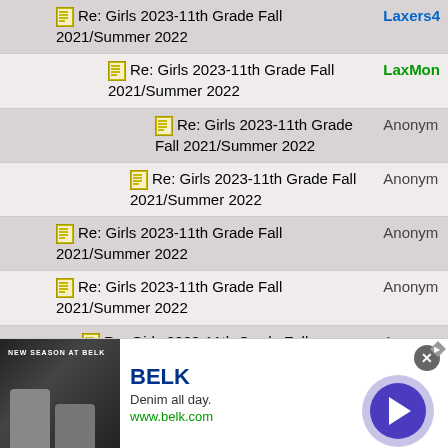| Thread Title | User |
| --- | --- |
| Re: Girls 2023-11th Grade Fall 2021/Summer 2022 | Laxers4... |
| Re: Girls 2023-11th Grade Fall 2021/Summer 2022 | LaxMon... |
| Re: Girls 2023-11th Grade Fall 2021/Summer 2022 | Anonym... |
| Re: Girls 2023-11th Grade Fall 2021/Summer 2022 | Anonym... |
| Re: Girls 2023-11th Grade Fall 2021/Summer 2022 | Anonym... |
| Re: Girls 2023-11th Grade Fall 2021/Summer 2022 | Anonym... |
| Re: Girls 2023-11th Grade Fall 2021/Summer 2022 | Anonym... |
| Re: Girls 2023-11th Grade Fall 2021/Summer 2022 | Anonym... |
| Re: Girls 2023-11th Grade Fall 2021/Summer 2022 | Anonym... |
[Figure (infographic): BELK advertisement banner: Denim all day. www.belk.com with play button]